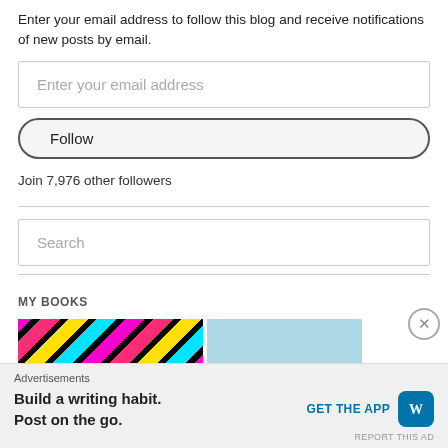Enter your email address to follow this blog and receive notifications of new posts by email.
Enter your email address
Follow
Join 7,976 other followers
Search
MY BOOKS
[Figure (other): Two book cover images side by side: left is a colorful diagonal striped pattern (pink, cyan, yellow, black), right is a light blue cover with faint dot pattern.]
Advertisements
Build a writing habit.
Post on the go.
GET THE APP